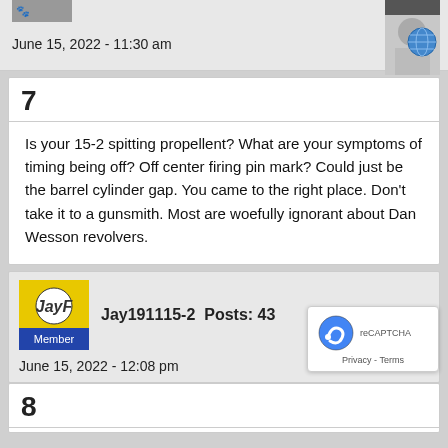June 15, 2022 - 11:30 am
7
Is your 15-2 spitting propellent? What are your symptoms of timing being off? Off center firing pin mark? Could just be the barrel cylinder gap. You came to the right place. Don't take it to a gunsmith. Most are woefully ignorant about Dan Wesson revolvers.
Jay191115-2  Posts: 43
Member
June 15, 2022 - 12:08 pm
8